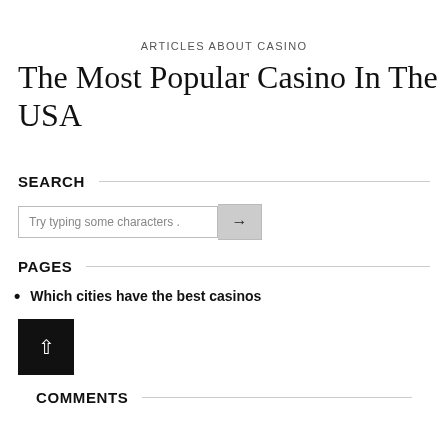ARTICLES ABOUT CASINO
The Most Popular Casino In The USA
SEARCH
Try typing some characters .
PAGES
Which cities have the best casinos
COMMENTS